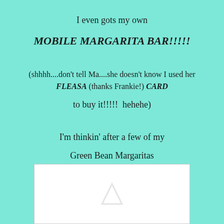I even gots my own
MOBILE MARGARITA BAR!!!!!
(shhhh....don't tell Ma....she doesn't know I used her FLEASA (thanks Frankie!) CARD
to buy it!!!!!  hehehe)
I'm thinkin' after a few of my
Green Bean Margaritas
Maybe she won't mind! BOL
[Figure (photo): White image box with faint placeholder icon at bottom of page]